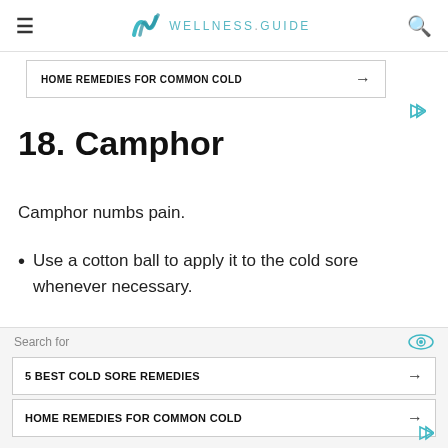WELLNESS.GUIDE
[Figure (other): Ad banner: HOME REMEDIES FOR COMMON COLD with arrow]
18. Camphor
Camphor numbs pain.
Use a cotton ball to apply it to the cold sore whenever necessary.
Leave on for few minutes.
[Figure (other): Ad overlay: Search for / 5 BEST COLD SORE REMEDIES / HOME REMEDIES FOR COMMON COLD]